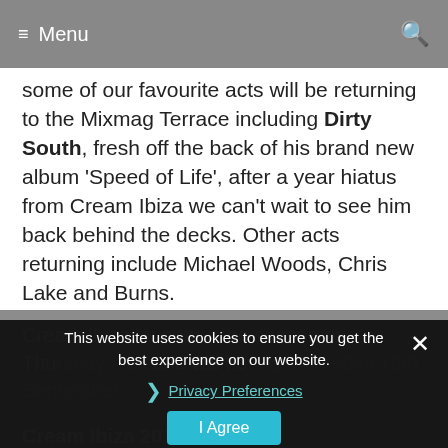≡ Menu  🔍
some of our favourite acts will be returning to the Mixmag Terrace including Dirty South, fresh off the back of his brand new album 'Speed of Life', after a year hiatus from Cream Ibiza we can't wait to see him back behind the decks. Other acts returning include Michael Woods, Chris Lake and Burns.
Cream Ibiza launches the season on Thursday... and will ho... Thursday 19th September...
Cream Ibiza 2013 ...gs
This website uses cookies to ensure you get the best experience on our website.
❯ Privacy Preferences
I Agree